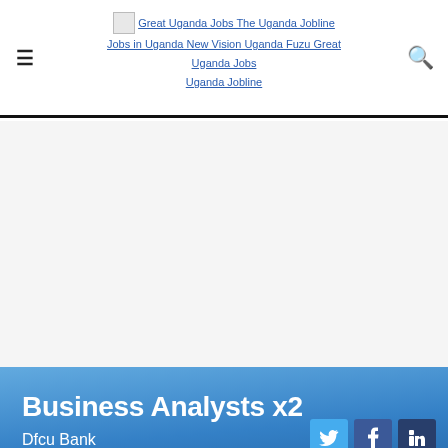Great Uganda Jobs The Uganda Jobline Jobs in Uganda New Vision Uganda Fuzu Great Uganda Jobs Uganda Jobline
Business Analysts x2
Dfcu Bank
This is a Full-time position in Kampala posted March 15, 2022. Business Operations
# Job Description
dfcu Bank is a fast-growing Bank in Uganda offering a wide range of financial solutions to its chosen market segments. We are seeking to recruit